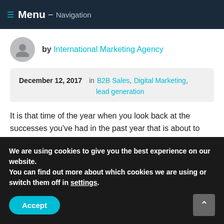Menu - Navigation
by International Marketing Agency
December 12, 2017 in B2B Sales, Digital Marketing, lead generation
It is that time of the year when you look back at the successes you've had in the past year that is about to end, and to make plan for the upcoming one. Follow the latest trends that will show you the opportunities how to improve
We are using cookies to give you the best experience on our website.
You can find out more about which cookies we are using or switch them off in settings.